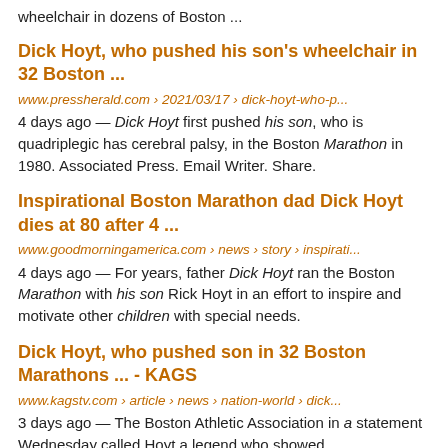wheelchair in dozens of Boston ...
Dick Hoyt, who pushed his son's wheelchair in 32 Boston ...
www.pressherald.com › 2021/03/17 › dick-hoyt-who-p...
4 days ago — Dick Hoyt first pushed his son, who is quadriplegic has cerebral palsy, in the Boston Marathon in 1980. Associated Press. Email Writer. Share.
Inspirational Boston Marathon dad Dick Hoyt dies at 80 after 4 ...
www.goodmorningamerica.com › news › story › inspirati...
4 days ago — For years, father Dick Hoyt ran the Boston Marathon with his son Rick Hoyt in an effort to inspire and motivate other children with special needs.
Dick Hoyt, who pushed son in 32 Boston Marathons ... - KAGS
www.kagstv.com › article › news › nation-world › dick...
3 days ago — The Boston Athletic Association in a statement Wednesday called Hoyt a legend who showed